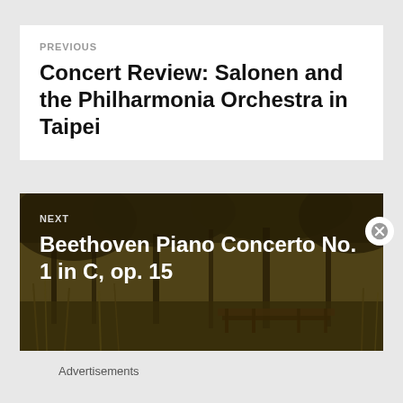PREVIOUS
Concert Review: Salonen and the Philharmonia Orchestra in Taipei
[Figure (photo): Nature scene with trees, reeds and a wooden dock/bridge over water, sepia/golden toned, used as background for the NEXT navigation block]
NEXT
Beethoven Piano Concerto No. 1 in C, op. 15
Advertisements